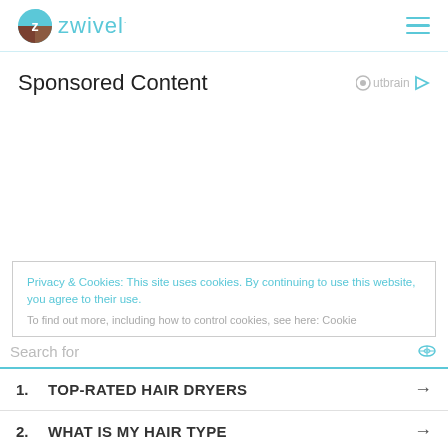zwivel
Sponsored Content
Privacy & Cookies: This site uses cookies. By continuing to use this website, you agree to their use.
To find out more, including how to control cookies, see here: Cookie
Search for
1. TOP-RATED HAIR DRYERS
2. WHAT IS MY HAIR TYPE